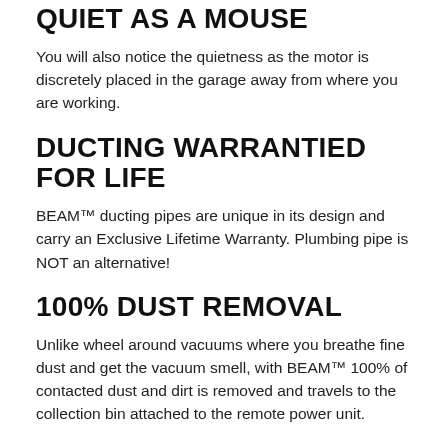QUIET AS A MOUSE
You will also notice the quietness as the motor is discretely placed in the garage away from where you are working.
DUCTING WARRANTIED FOR LIFE
BEAM™ ducting pipes are unique in its design and carry an Exclusive Lifetime Warranty. Plumbing pipe is NOT an alternative!
100% DUST REMOVAL
Unlike wheel around vacuums where you breathe fine dust and get the vacuum smell, with BEAM™ 100% of contacted dust and dirt is removed and travels to the collection bin attached to the remote power unit.
ONLY BEAM IS CLINICALLY PROVEN TO RELIEVE ALLERGY SYMPTOMS